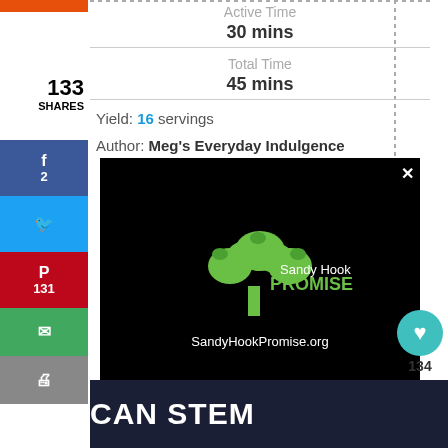Active Time
30 mins
Total Time
45 mins
Yield: 16 servings
Author: Meg's Everyday Indulgence
[Figure (other): Sandy Hook Promise advertisement with tree logo on black background, URL SandyHookPromise.org]
133 SHARES
2 (Facebook)
131 (Pinterest)
134 (heart count)
SHE CAN STEM